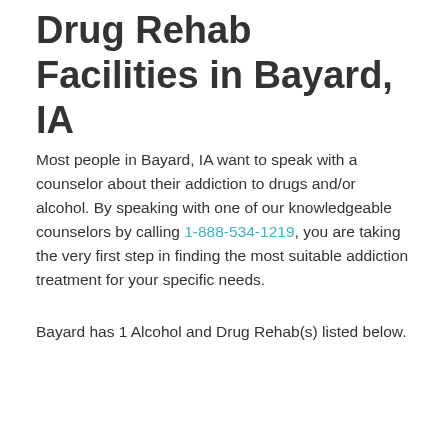Drug Rehab Facilities in Bayard, IA
Most people in Bayard, IA want to speak with a counselor about their addiction to drugs and/or alcohol. By speaking with one of our knowledgeable counselors by calling 1-888-534-1219, you are taking the very first step in finding the most suitable addiction treatment for your specific needs.
Bayard has 1 Alcohol and Drug Rehab(s) listed below.
[Figure (infographic): Teal banner with search icon and text 'LOOKING FOR A REHAB CENTER?' followed by a photo of call center workers wearing headsets]